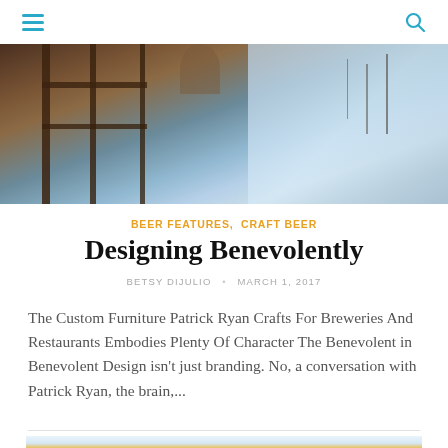Navigation header with hamburger menu and search icon
[Figure (photo): Outdoor photo showing wooden furniture/structure with a person and bare winter trees against a blue sky background, brewery or restaurant setting]
BEER FEATURES,  CRAFT BEER
Designing Benevolently
BETSY DIJULIO  •  MARCH 1, 2017
The Custom Furniture Patrick Ryan Crafts For Breweries And Restaurants Embodies Plenty Of Character The Benevolent in Benevolent Design isn't just branding. No, a conversation with Patrick Ryan, the brain,...
[Figure (photo): Food photo showing what appears to be a pastry or donut with toppings on a light blue background]